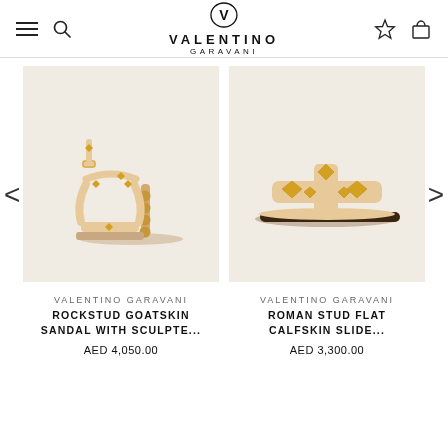VALENTINO GARAVANI
[Figure (photo): Valentino Garavani Rockstud Goatskin Sandal with sculpted heel, nude/beige color with gold studs]
VALENTINO GARAVANI
ROCKSTUD GOATSKIN SANDAL WITH SCULPTE...
AED 4,050.00
[Figure (photo): Valentino Garavani Roman Stud Flat Calfskin Slide, nude/beige color with large gold studs]
VALENTINO GARAVANI
ROMAN STUD FLAT CALFSKIN SLIDE...
AED 3,300.00